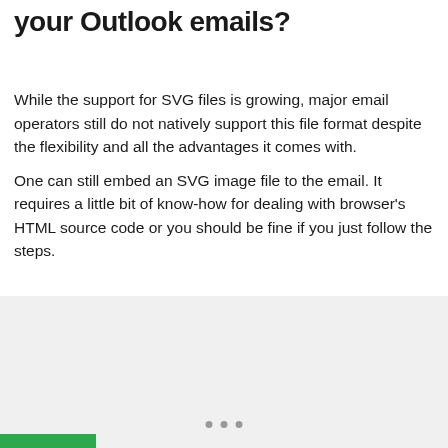your Outlook emails?
While the support for SVG files is growing, major email operators still do not natively support this file format despite the flexibility and all the advantages it comes with.
One can still embed an SVG image file to the email. It requires a little bit of know-how for dealing with browser's HTML source code or you should be fine if you just follow the steps.